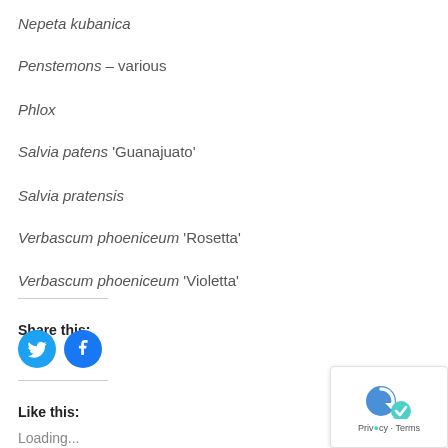Nepeta kubanica
Penstemons – various
Phlox
Salvia patens 'Guanajuato'
Salvia pratensis
Verbascum phoeniceum 'Rosetta'
Verbascum phoeniceum 'Violetta'
Share this:
[Figure (infographic): Twitter and Facebook social share icon buttons (blue circles with bird and f logos)]
Like this:
Loading...